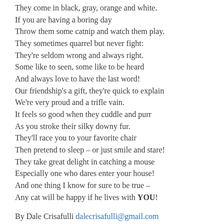They come in black, gray, orange and white.
If you are having a boring day
Throw them some catnip and watch them play.
They sometimes quarrel but never fight:
They're seldom wrong and always right.
Some like to seen, some like to be heard
And always love to have the last word!
Our friendship's a gift, they're quick to explain
We're very proud and a trifle vain.
It feels so good when they cuddle and purr
As you stroke their silky downy fur.
They'll race you to your favorite chair
Then pretend to sleep – or just smile and stare!
They take great delight in catching a mouse
Especially one who dares enter your house!
And one thing I know for sure to be true –
Any cat will be happy if he lives with YOU!
By Dale Crisafulli dalecrisafulli@gmail.com